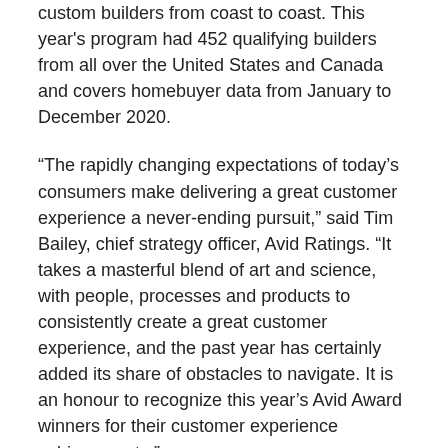custom builders from coast to coast. This year's program had 452 qualifying builders from all over the United States and Canada and covers homebuyer data from January to December 2020.
“The rapidly changing expectations of today’s consumers make delivering a great customer experience a never-ending pursuit,” said Tim Bailey, chief strategy officer, Avid Ratings. “It takes a masterful blend of art and science, with people, processes and products to consistently create a great customer experience, and the past year has certainly added its share of obstacles to navigate. It is an honour to recognize this year’s Avid Award winners for their customer experience achievements.”